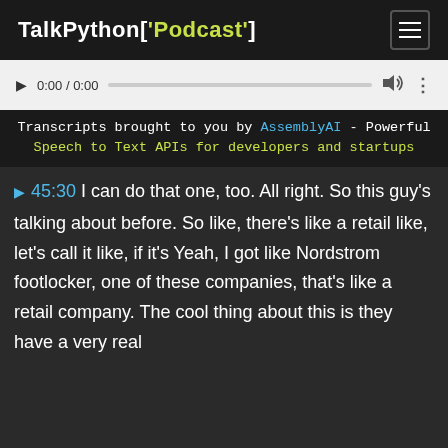TalkPython['Podcast']
[Figure (other): Audio player with play button, time display 0:00 / 0:00, progress bar, volume icon, and more options icon]
Transcripts brought to you by AssemblyAI - Powerful Speech to Text APIs for developers and startups
▶ 45:30 I can do that one, too. All right. So this guy's talking about before. So like, there's like a retail like, let's call it like, if it's Yeah, I got like Nordstrom footlocker, one of these companies, that's like a retail company. The cool thing about this is they have a very real